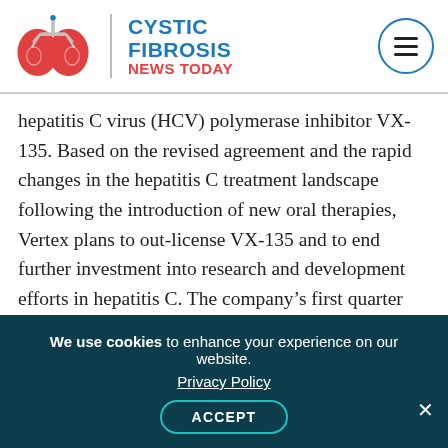Cystic Fibrosis News Today
hepatitis C virus (HCV) polymerase inhibitor VX-135. Based on the revised agreement and the rapid changes in the hepatitis C treatment landscape following the introduction of new oral therapies, Vertex plans to out-license VX-135 and to end further investment into research and development efforts in hepatitis C. The company's first quarter 2014 non-GAAP financial results reflect the removal of hepatitis C costs and revenues, and primarily exclude stock-based compensation expense and transition costs related to the relocation of Vertex's
We use cookies to enhance your experience on our website. Privacy Policy ACCEPT